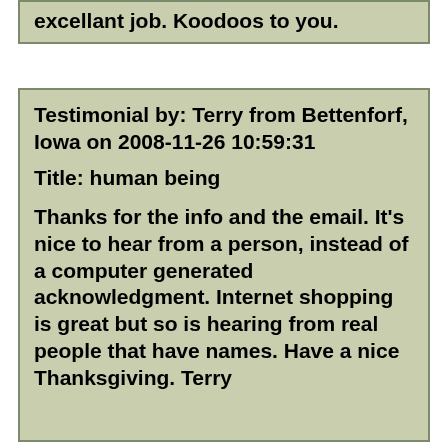excellant job. Koodoos to you.
Testimonial by: Terry from Bettenforf, Iowa on 2008-11-26 10:59:31
Title: human being
Thanks for the info and the email. It's nice to hear from a person, instead of a computer generated acknowledgment. Internet shopping is great but so is hearing from real people that have names. Have a nice Thanksgiving. Terry